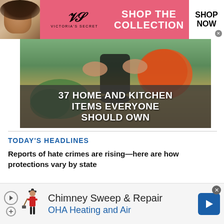[Figure (illustration): Victoria's Secret advertisement banner with model, VS logo, 'SHOP THE COLLECTION' text, and 'SHOP NOW' button on pink background]
[Figure (photo): Kitchen items promotional image showing hands using a kitchen tool with an orange/tomato, overlaid with bold white text '37 HOME AND KITCHEN ITEMS EVERYONE SHOULD OWN']
TODAY'S HEADLINES
Reports of hate crimes are rising—here are how protections vary by state
[Figure (illustration): Chimney Sweep & Repair advertisement for OHA Heating and Air with chimney sweep figure icon and blue navigation arrow icon]